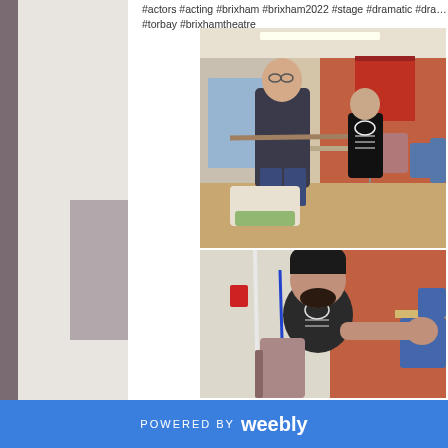#actors #acting #brixham #brixham2022 #stage #dramatic #drama #torbay #brixhamtheatre
[Figure (photo): Photo of two men in a community hall rehearsing a play. One man in dark t-shirt holds a long stick/broom handle; another man in a skeleton costume stands in the background. Chairs visible.]
[Figure (photo): Photo of a man in a skeleton hoodie seated in a chair, gesturing with his hand/arm extended, appearing to be acting or speaking.]
POWERED BY  weebly